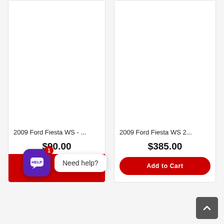[Figure (other): Product card for 2009 Ford Fiesta WS with price $90.00 and Add to Cart button, overlaid with help widget showing speech bubble icon and 'Need help?' tooltip]
2009 Ford Fiesta WS - ...
$90.00
[Figure (other): Product card for 2009 Ford Fiesta WS 2... with price $385.00 and Add to Cart button]
2009 Ford Fiesta WS 2...
$385.00
Add to Cart
[Figure (other): Help widget with purple rounded square icon with HELP speech bubble, red badge showing '1', and white tooltip bubble saying 'Need help?']
[Figure (other): Scroll to top button, dark grey square with upward chevron arrow]